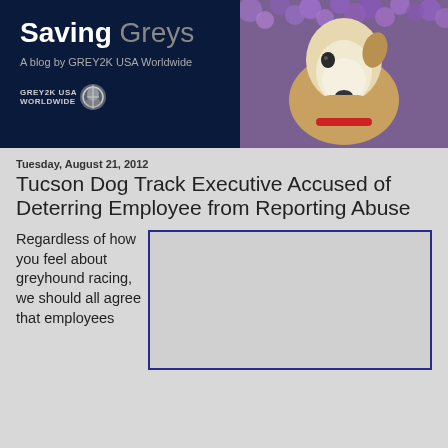Saving Greys — A blog by GREY2K USA Worldwide
Tucson Dog Track Executive Accused of Deterring Employee from Reporting Abuse
Tuesday, August 21, 2012
Regardless of how you feel about greyhound racing, we should all agree that employees
[Figure (photo): Close-up photo of a greyhound dog with a light tan and white coat, against a background of purple flowers]